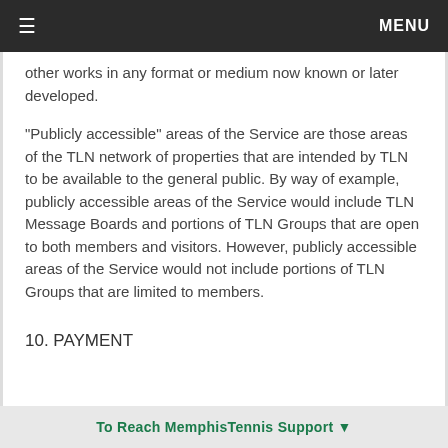≡  MENU
other works in any format or medium now known or later developed.
"Publicly accessible" areas of the Service are those areas of the TLN network of properties that are intended by TLN to be available to the general public. By way of example, publicly accessible areas of the Service would include TLN Message Boards and portions of TLN Groups that are open to both members and visitors. However, publicly accessible areas of the Service would not include portions of TLN Groups that are limited to members.
10. PAYMENT
To Reach MemphisTennis Support ▼